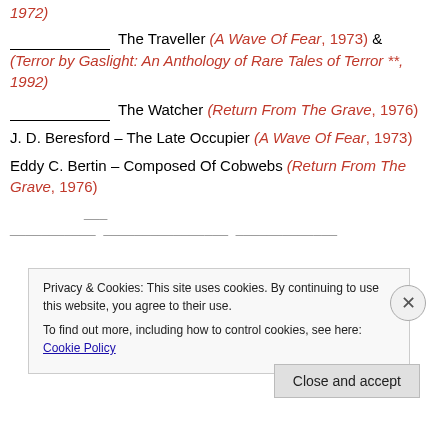_______________ The Traveller (A Wave Of Fear, 1973) & (Terror by Gaslight: An Anthology of Rare Tales of Terror **, 1992)
_______________ The Watcher (Return From The Grave, 1976)
J. D. Beresford – The Late Occupier (A Wave Of Fear, 1973)
Eddy C. Bertin – Composed Of Cobwebs (Return From The Grave, 1976)
Privacy & Cookies: This site uses cookies. By continuing to use this website, you agree to their use. To find out more, including how to control cookies, see here: Cookie Policy